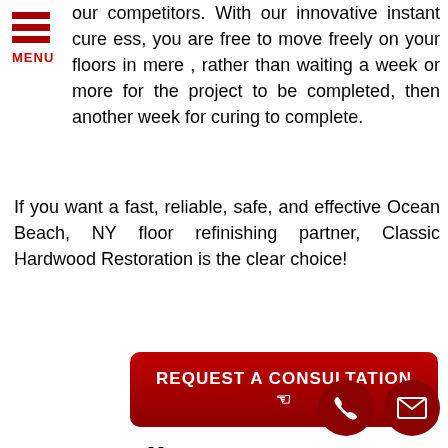[Figure (other): Hamburger menu icon with three red bars and MENU label]
our competitors. With our innovative instant cure ess, you are free to move freely on your floors in mere , rather than waiting a week or more for the project to be completed, then another week for curing to complete.
If you want a fast, reliable, safe, and effective Ocean Beach, NY floor refinishing partner, Classic Hardwood Restoration is the clear choice!
[Figure (other): Dark red rounded button with white text: REQUEST A CONSULTATION with hand/pointing cursor icon]
Let's Talk Now- Free Consultation
[Figure (other): Two dark red circular icons at bottom right: phone handset icon and envelope/mail icon]